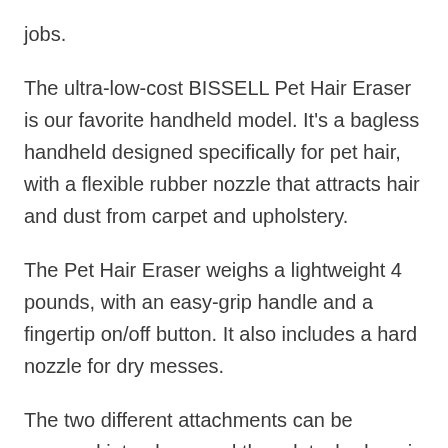jobs.
The ultra-low-cost BISSELL Pet Hair Eraser is our favorite handheld model. It’s a bagless handheld designed specifically for pet hair, with a flexible rubber nozzle that attracts hair and dust from carpet and upholstery.
The Pet Hair Eraser weighs a lightweight 4 pounds, with an easy-grip handle and a fingertip on/off button. It also includes a hard nozzle for dry messes.
The two different attachments can be snapped into place, and then detached again with the press of a